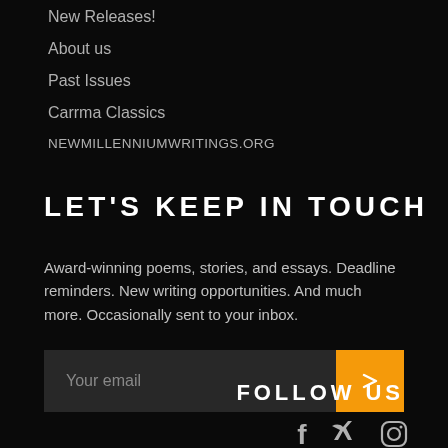New Releases!
About us
Past Issues
Carrma Classics
NEWMILLENNIUMWRITINGS.ORG
LET'S KEEP IN TOUCH
Award-winning poems, stories, and essays. Deadline reminders. New writing opportunities. And much more. Occasionally sent to your inbox.
FOLLOW US
[Figure (illustration): Social media icons: Facebook, Twitter, Instagram]